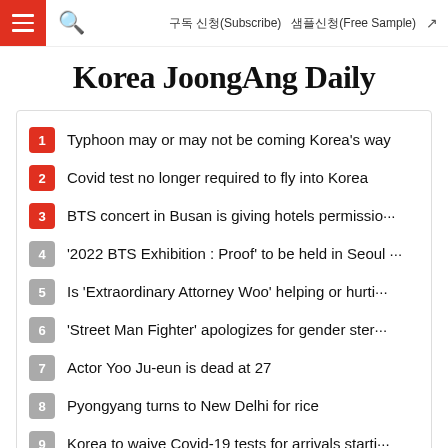≡  🔍  구독 신청(Subscribe)  샘플신청(Free Sample)  ↗
Korea JoongAng Daily
1  Typhoon may or may not be coming Korea's way
2  Covid test no longer required to fly into Korea
3  BTS concert in Busan is giving hotels permissio···
4  '2022 BTS Exhibition : Proof' to be held in Seoul ···
5  Is 'Extraordinary Attorney Woo' helping or hurti···
6  'Street Man Fighter' apologizes for gender ster···
7  Actor Yoo Ju-eun is dead at 27
8  Pyongyang turns to New Delhi for rice
9  Korea to waive Covid-19 tests for arrivals starti···
10  Lone Star arbitration ruling to be challenged by ···